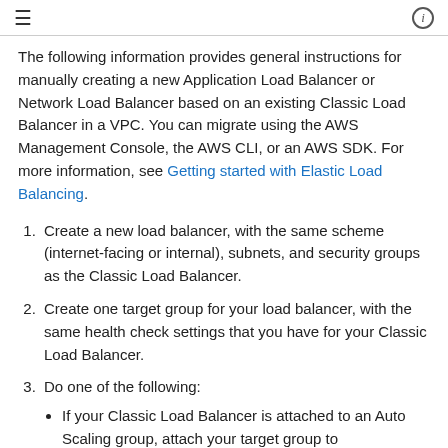≡  ⓘ
The following information provides general instructions for manually creating a new Application Load Balancer or Network Load Balancer based on an existing Classic Load Balancer in a VPC. You can migrate using the AWS Management Console, the AWS CLI, or an AWS SDK. For more information, see Getting started with Elastic Load Balancing.
1. Create a new load balancer, with the same scheme (internet-facing or internal), subnets, and security groups as the Classic Load Balancer.
2. Create one target group for your load balancer, with the same health check settings that you have for your Classic Load Balancer.
3. Do one of the following:
If your Classic Load Balancer is attached to an Auto Scaling group, attach your target group to